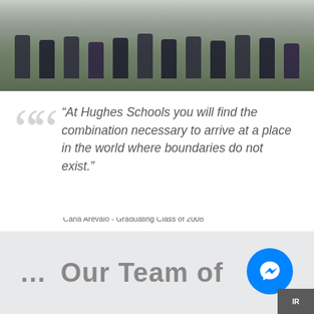[Figure (photo): Group photo of students wearing matching dark shirts, sitting and kneeling on grass outdoors]
“At Hughes Schools you will find the combination necessary to arrive at a place in the world where boundaries do not exist.”
Carla Arevalo - Graduating Class of 2008
… Our Team of